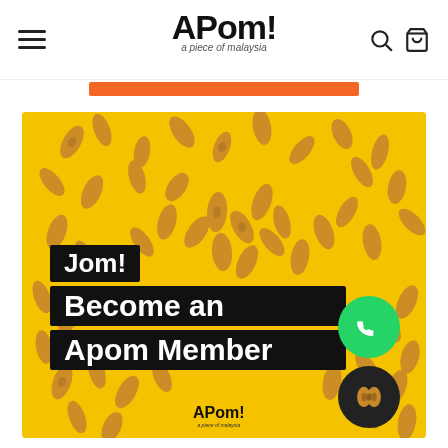APom! a piece of malaysia — navigation header with hamburger menu, logo, search and cart icons
[Figure (illustration): Orange promotional banner bar]
[Figure (photo): Promotional banner image on yellow background with golden peanut snacks scattered around. Text overlay reads 'Jom! Become an Apom Member' in bold white text on black boxes. APom! logo at bottom center. WhatsApp green phone icon button at right. Dark circular peanut icon button at bottom right.]